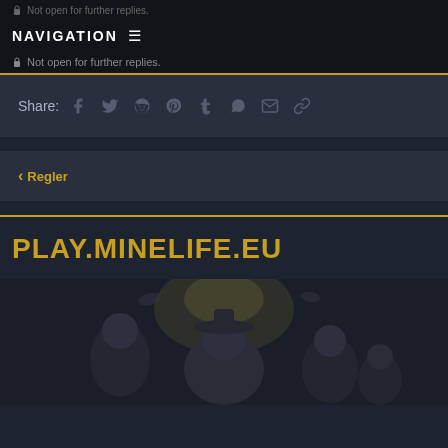Not open for further replies.
NAVIGATION
Not open for further replies.
Share:
Regler
PLAY.MINELIFE.EU
[Figure (illustration): Anime-style characters illustration on dark background, partially visible at bottom of page]